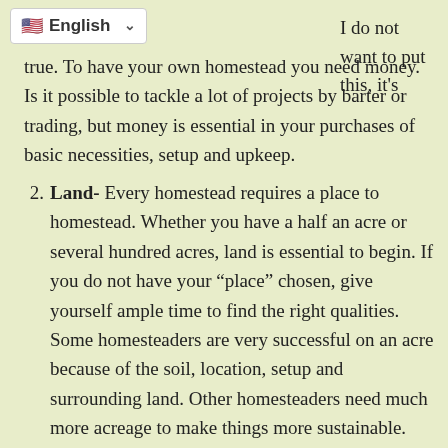English
I do not want to put this, it’s true. To have your own homestead you need money. Is it possible to tackle a lot of projects by barter or trading, but money is essential in your purchases of basic necessities, setup and upkeep.
Land- Every homestead requires a place to homestead. Whether you have a half an acre or several hundred acres, land is essential to begin. If you do not have your “place” chosen, give yourself ample time to find the right qualities. Some homesteaders are very successful on an acre because of the soil, location, setup and surrounding land. Other homesteaders need much more acreage to make things more sustainable. Do some research of the land in which you want to homestead.
References- I love this one, because it is